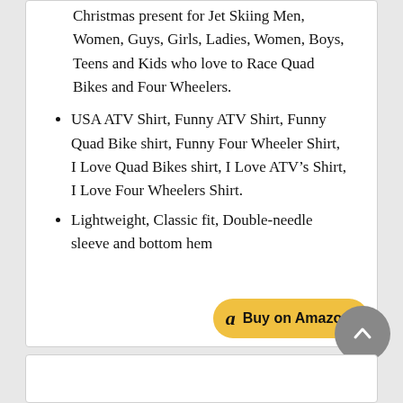Christmas present for Jet Skiing Men, Women, Guys, Girls, Ladies, Women, Boys, Teens and Kids who love to Race Quad Bikes and Four Wheelers.
USA ATV Shirt, Funny ATV Shirt, Funny Quad Bike shirt, Funny Four Wheeler Shirt, I Love Quad Bikes shirt, I Love ATV’s Shirt, I Love Four Wheelers Shirt.
Lightweight, Classic fit, Double-needle sleeve and bottom hem
[Figure (screenshot): Buy on Amazon button with Amazon logo]
[Figure (screenshot): Scroll to top circular grey button with upward chevron]
[Figure (screenshot): Bottom white card partial view]